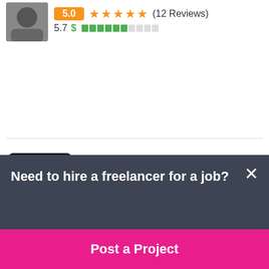5.0 ★★★★★ (12 Reviews)
5.7 $ ██████░░░░
AddWebSolution7 🇮🇳
$140 USD in 7 days
5.0 ★★★★★ (12 Reviews)
5.5 $ █████░░░░░
Need to hire a freelancer for a job?
Post a Project